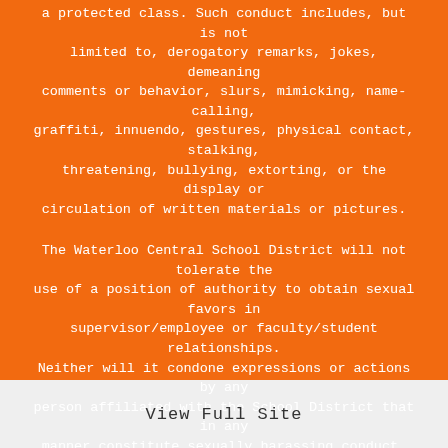a protected class. Such conduct includes, but is not limited to, derogatory remarks, jokes, demeaning comments or behavior, slurs, mimicking, name-calling, graffiti, innuendo, gestures, physical contact, stalking, threatening, bullying, extorting, or the display or circulation of written materials or pictures.
The Waterloo Central School District will not tolerate the use of a position of authority to obtain sexual favors in supervisor/employee or faculty/student relationships. Neither will it condone expressions or actions by any person affiliated with the School District that in any manner constitute sexually harassing conduct, including student-to-student harassment. Attempts to suppress the report of such actions or to retaliate for the presentation of a report will be considered in the same light as the offending behavior.
View Full Site